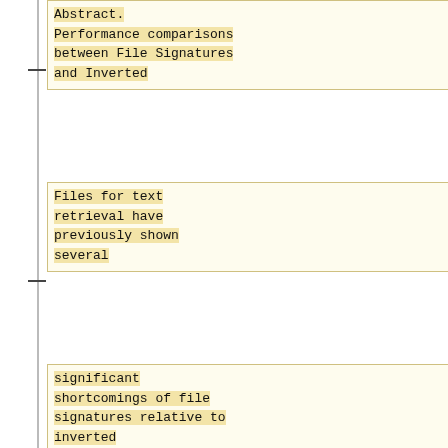Abstract. Performance comparisons between File Signatures and Inverted
Files for text retrieval have previously shown several
significant shortcomings of file signatures relative to inverted
files. The inverted file approach underpins most state-of-the-art
search engine algorithms, such as Language and Probabilistic
models. It has been